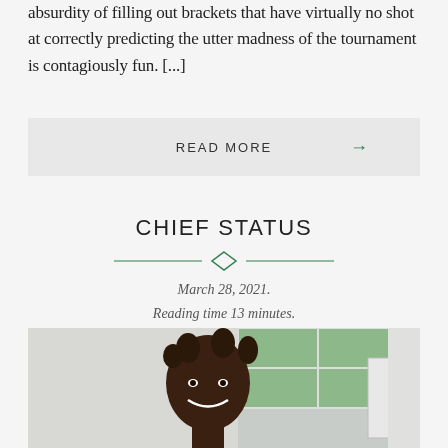absurdity of filling out brackets that have virtually no shot at correctly predicting the utter madness of the tournament is contagiously fun. [...]
READ MORE →
CHIEF STATUS
March 28, 2021.
Reading time 13 minutes.
[Figure (photo): Portrait photo of a smiling man with braided hair, standing in front of a window with trees visible outside.]